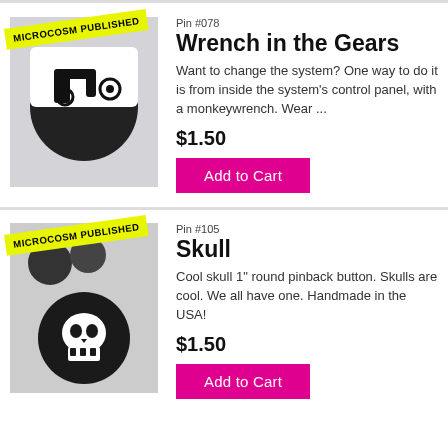[Figure (photo): Product image of 'Wrench in the Gears' pin with MICROCOSM PUBLISHED badge]
Pin #078
Wrench in the Gears
Want to change the system? One way to do it is from inside the system's control panel, with a monkeywrench. Wear ...
$1.50
Add to Cart
[Figure (photo): Product image of 'Skull' pin with MICROCOSM PUBLISHED badge]
Pin #105
Skull
Cool skull 1" round pinback button. Skulls are cool. We all have one. Handmade in the USA!
$1.50
Add to Cart